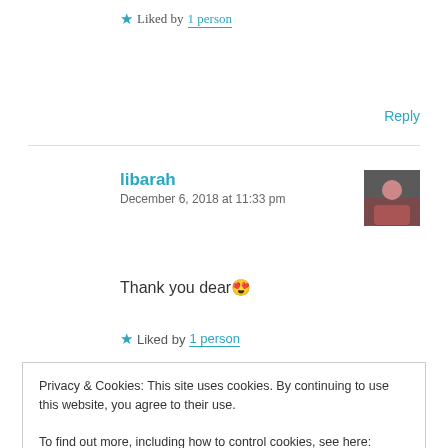★ Liked by 1 person
Reply
libarah
December 6, 2018 at 11:33 pm
[Figure (photo): User avatar thumbnail]
Thank you dear 😍
★ Liked by 1 person
Privacy & Cookies: This site uses cookies. By continuing to use this website, you agree to their use.
To find out more, including how to control cookies, see here: Cookie Policy
Close and accept